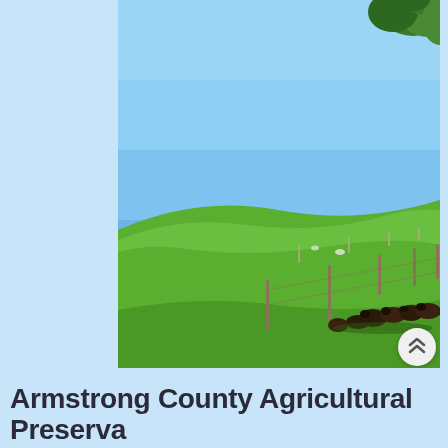[Figure (photo): Photograph of a green agricultural field with cattle grazing in the lower right area, a wooden fence line running diagonally, a rolling green hillside, and a clear blue sky above. Tree branches visible in upper right corner.]
Armstrong County Agricultural Preserva